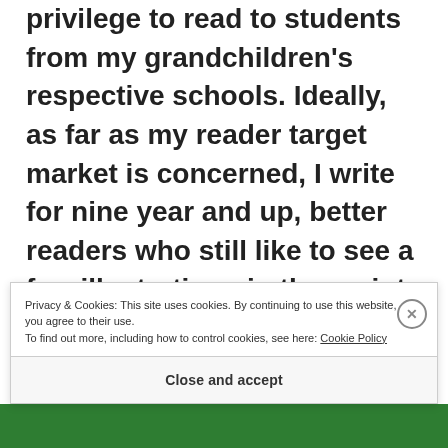privilege to read to students from my grandchildren's respective schools. Ideally, as far as my reader target market is concerned, I write for nine year and up, better readers who still like to see a few illustrations in the script, but younger listeners certainly like being read to and especially like His Handsomeness, King Rat and Plump-Grump the stubborn goat.
Privacy & Cookies: This site uses cookies. By continuing to use this website, you agree to their use. To find out more, including how to control cookies, see here: Cookie Policy
Close and accept